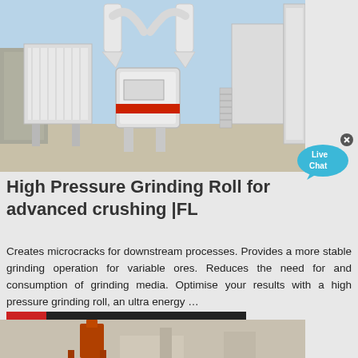[Figure (photo): Industrial grinding mill / high pressure grinding roll machine photographed outdoors, white machinery with large hoppers, cyclones, and conveyor structures against a clear sky]
High Pressure Grinding Roll for advanced crushing |FL
Creates microcracks for downstream processes. Provides a more stable grinding operation for variable ores. Reduces the need for and consumption of grinding media. Optimise your results with a high pressure grinding roll, an ultra energy …
[Figure (infographic): Contact button with envelope icon on red background and text MAKIPAG-UGNAYAN SA AMIN on dark background]
[Figure (photo): Bottom strip showing partial industrial equipment image]